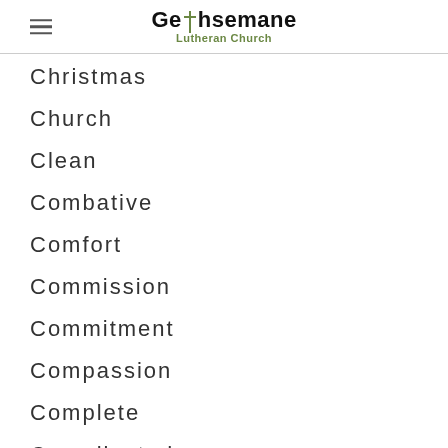Gethsemane Lutheran Church
Christmas
Church
Clean
Combative
Comfort
Commission
Commitment
Compassion
Complete
Complicated
Confession
Confidence